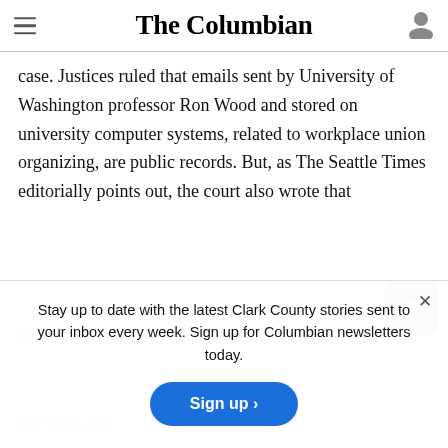The Columbian
case. Justices ruled that emails sent by University of Washington professor Ron Wood and stored on university computer systems, related to workplace union organizing, are public records. But, as The Seattle Times editorially points out, the court also wrote that
because they are stored on university servers
We have also
Stay up to date with the latest Clark County stories sent to your inbox every week. Sign up for Columbian newsletters today.